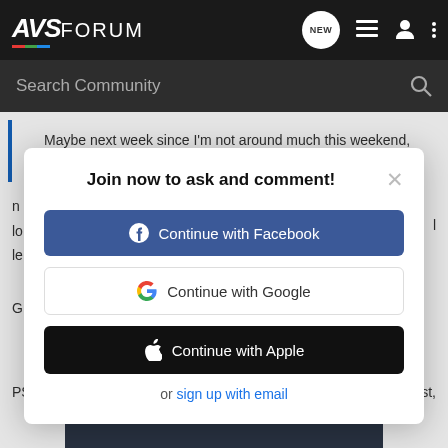AVS FORUM
Search Community
Maybe next week since I'm not around much this weekend, and any
Join now to ask and comment!
Continue with Facebook
Continue with Google
Continue with Apple
or sign up with email
PS. Leg…  a blast,
[Figure (screenshot): VRST advertisement banner at the bottom of the page]